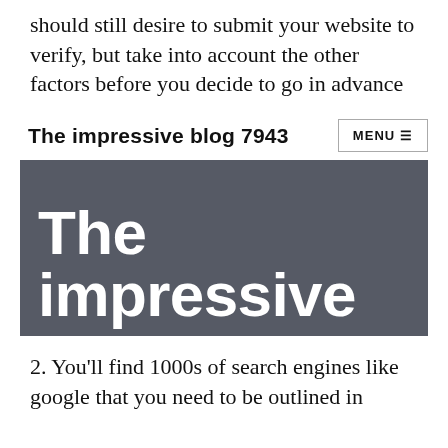should still desire to submit your website to verify, but take into account the other factors before you decide to go in advance
The impressive blog 7943   MENU ☰
[Figure (screenshot): Dark gray hero banner image with large white bold text reading 'The impressive']
2. You'll find 1000s of search engines like google that you need to be outlined in